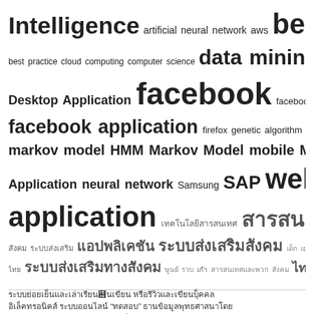[Figure (infographic): Tag cloud with terms: Intelligence, artificial neural network, aws, beelony, best practice, cloud computing, computer science, data mining, Desktop Application, facebook, facebook app, facebook application, firefox, genetic algorithm, hidden markov model, HMM, Markov Model, mobile, Mobile Application, neural network, Samsung, SAP, web application — displayed in varying font sizes indicating frequency/importance. Also includes Thai script tags of varying sizes.]
Thai script paragraph text (body text in Thai language)
Thai script link and green button